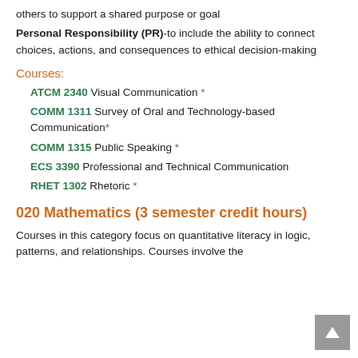others to support a shared purpose or goal
Personal Responsibility (PR)-to include the ability to connect choices, actions, and consequences to ethical decision-making
Courses:
ATCM 2340 Visual Communication *
COMM 1311 Survey of Oral and Technology-based Communication*
COMM 1315 Public Speaking *
ECS 3390 Professional and Technical Communication
RHET 1302 Rhetoric *
020 Mathematics (3 semester credit hours)
Courses in this category focus on quantitative literacy in logic, patterns, and relationships. Courses involve the